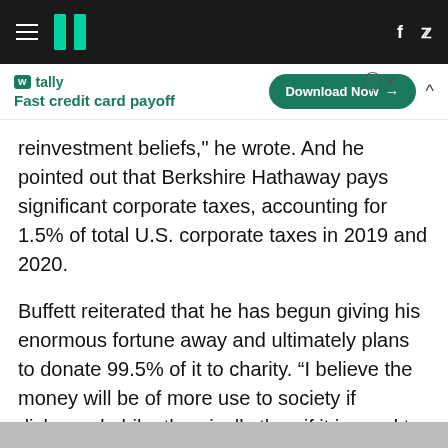HuffPost navigation header with hamburger menu, logo, Facebook and Twitter icons
[Figure (other): Tally advertisement banner: Fast credit card payoff, Download Now button]
reinvestment beliefs," he wrote. And he pointed out that Berkshire Hathaway pays significant corporate taxes, accounting for 1.5% of total U.S. corporate taxes in 2019 and 2020.
Buffett reiterated that he has begun giving his enormous fortune away and ultimately plans to donate 99.5% of it to charity. “I believe the money will be of more use to society if disbursed philanthropically than if it is used to slightly reduce an ever-increasing U.S. debt,” he wrote.